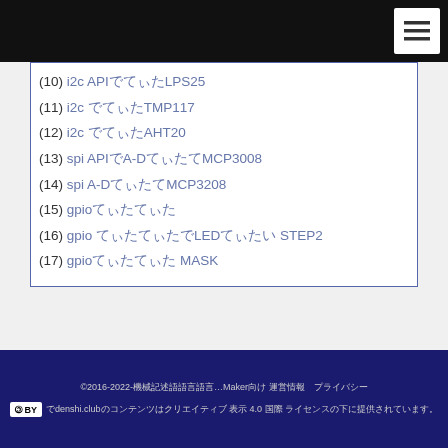(10) i2c APIでLPS25
(11) i2c でTMP117
(12) i2c でAHT20
(13) spi APIでA-DコンバータMCP3008
(14) spi A-DコンバータMCP3208
(15) gpioでチカチカ
(16) gpio チカチカでLEDマトリクス STEP2
(17) gpioチカチカ MASK
©2016-2022-電子工作の基礎知識…Maker向け 運営情報　プライバシー　denshi.clubのコンテンツはクリエイティブ・コモンズ 表示 4.0 国際 ライセンスの下に提供されています。